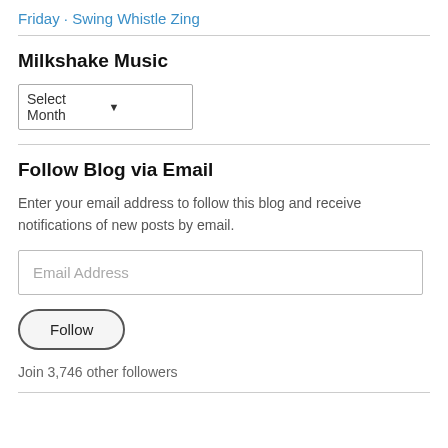Friday · Swing Whistle Zing
Milkshake Music
[Figure (other): Dropdown select box with label 'Select Month']
Follow Blog via Email
Enter your email address to follow this blog and receive notifications of new posts by email.
[Figure (other): Email address input field with placeholder 'Email Address']
[Figure (other): Follow button with rounded border]
Join 3,746 other followers